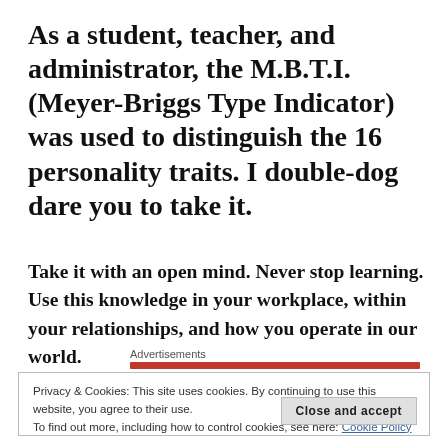As a student, teacher, and administrator, the M.B.T.I. (Meyer-Briggs Type Indicator) was used to distinguish the 16 personality traits. I double-dog dare you to take it.
Take it with an open mind. Never stop learning. Use this knowledge in your workplace, within your relationships, and how you operate in our world.
Advertisements
Privacy & Cookies: This site uses cookies. By continuing to use this website, you agree to their use.
To find out more, including how to control cookies, see here: Cookie Policy
Close and accept